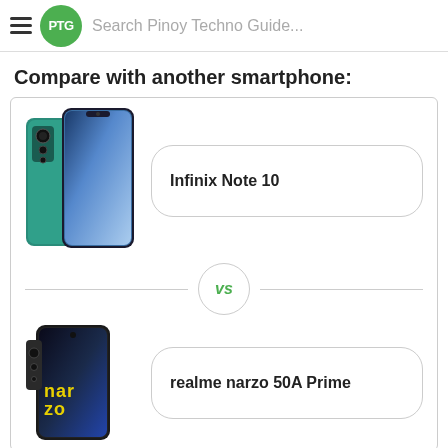PTG Search Pinoy Techno Guide...
Compare with another smartphone:
[Figure (photo): Infinix Note 10 smartphone image showing front and back in teal/green color]
Infinix Note 10
VS
[Figure (photo): realme narzo 50A Prime smartphone image showing front view in dark/black color]
realme narzo 50A Prime